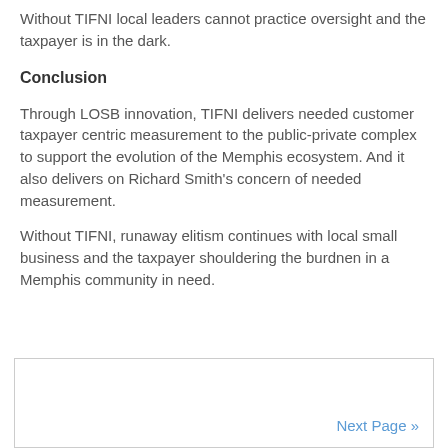Without TIFNI local leaders cannot practice oversight and the taxpayer is in the dark.
Conclusion
Through LOSB innovation, TIFNI delivers needed customer taxpayer centric measurement to the public-private complex to support the evolution of the Memphis ecosystem. And it also delivers on Richard Smith's concern of needed measurement.
Without TIFNI, runaway elitism continues with local small business and the taxpayer shouldering the burdnen in a Memphis community in need.
Next Page »